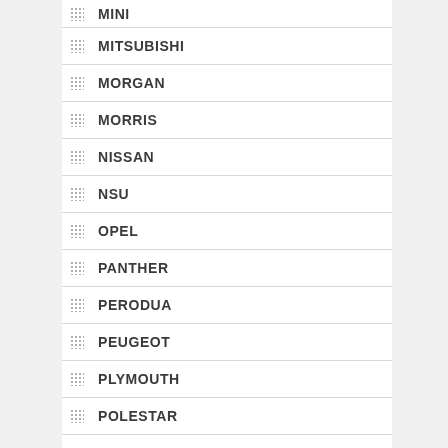MINI
MITSUBISHI
MORGAN
MORRIS
NISSAN
NSU
OPEL
PANTHER
PERODUA
PEUGEOT
PLYMOUTH
POLESTAR